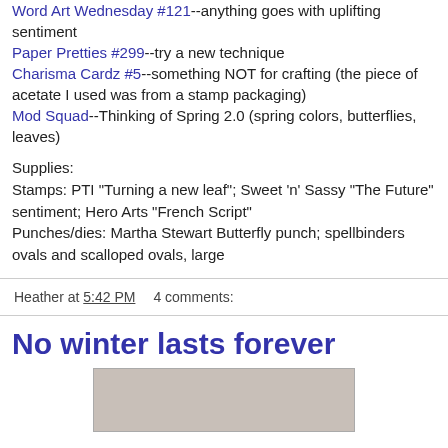Word Art Wednesday #121--anything goes with uplifting sentiment
Paper Pretties #299--try a new technique
Charisma Cardz #5--something NOT for crafting (the piece of acetate I used was from a stamp packaging)
Mod Squad--Thinking of Spring 2.0 (spring colors, butterflies, leaves)
Supplies:
Stamps: PTI "Turning a new leaf"; Sweet 'n' Sassy "The Future" sentiment; Hero Arts "French Script"
Punches/dies: Martha Stewart Butterfly punch; spellbinders ovals and scalloped ovals, large
Heather at 5:42 PM   4 comments:
No winter lasts forever
[Figure (photo): Partially visible photo of a handmade card with purple/mauve tones]